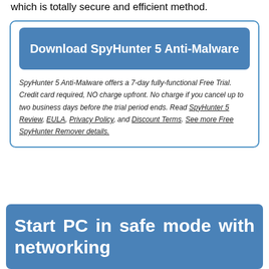which is totally secure and efficient method.
[Figure (other): Download SpyHunter 5 Anti-Malware button (blue rounded rectangle)]
SpyHunter 5 Anti-Malware offers a 7-day fully-functional Free Trial. Credit card required, NO charge upfront. No charge if you cancel up to two business days before the trial period ends. Read SpyHunter 5 Review, EULA, Privacy Policy, and Discount Terms. See more Free SpyHunter Remover details.
Start PC in safe mode with networking